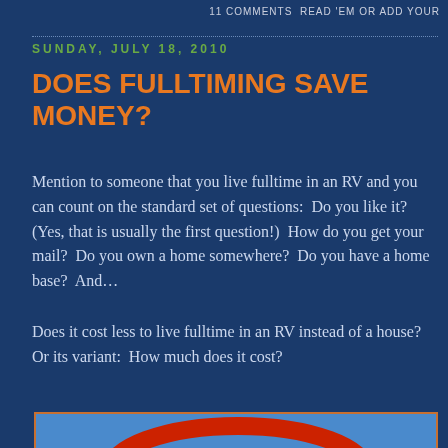11 COMMENTS  READ 'EM OR ADD YOUR
SUNDAY, JULY 18, 2010
DOES FULLTIMING SAVE MONEY?
Mention to someone that you live fulltime in an RV and you can count on the standard set of questions:  Do you like it?  (Yes, that is usually the first question!)  How do you get your mail?  Do you own a home somewhere?  Do you have a home base?  And…
Does it cost less to live fulltime in an RV instead of a house?  Or its variant:  How much does it cost?
[Figure (photo): Partial view of an RV or vehicle with a red arc/logo shape visible against a blue sky background, shown at the bottom of the page]